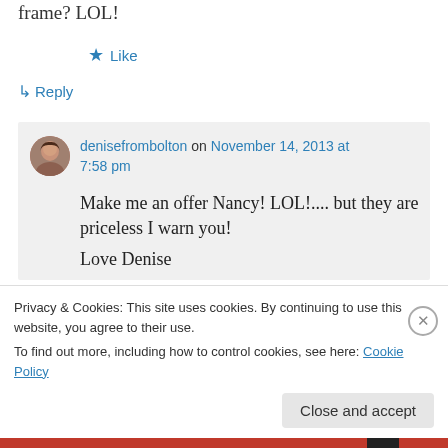frame? LOL!
★ Like
↳ Reply
denisefrombolton on November 14, 2013 at 7:58 pm
Make me an offer Nancy! LOL!.... but they are priceless I warn you!
Love Denise
Privacy & Cookies: This site uses cookies. By continuing to use this website, you agree to their use.
To find out more, including how to control cookies, see here: Cookie Policy
Close and accept